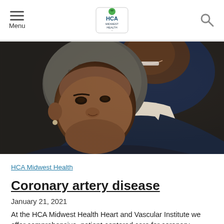Menu | HCA Midwest Health (logo) | Search
[Figure (photo): Close-up photo of a smiling African American woman with short grey hair and a drop earring, with an African American man smiling behind her, both wearing dark clothing.]
HCA Midwest Health
Coronary artery disease
January 21, 2021
At the HCA Midwest Health Heart and Vascular Institute we offer comprehensive, patient-centered care for coronary artery disease.